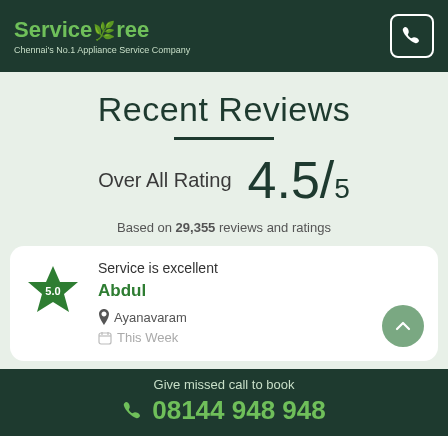ServiceTree — Chennai's No.1 Appliance Service Company
Recent Reviews
Over All Rating  4.5/5
Based on 29,355 reviews and ratings
5.0  Service is excellent  Abdul  Ayanavaram  This Week
Give missed call to book  08144 948 948